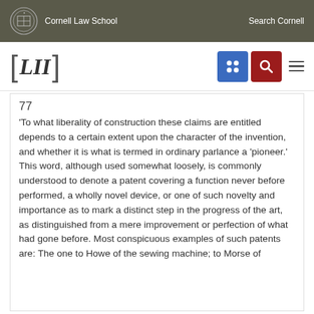Cornell Law School   Search Cornell
[Figure (logo): LII Legal Information Institute logo with Cornell Law School branding, navigation icons including a grid icon (blue) and search icon (red), and a hamburger menu]
77
'To what liberality of construction these claims are entitled depends to a certain extent upon the character of the invention, and whether it is what is termed in ordinary parlance a 'pioneer.' This word, although used somewhat loosely, is commonly understood to denote a patent covering a function never before performed, a wholly novel device, or one of such novelty and importance as to mark a distinct step in the progress of the art, as distinguished from a mere improvement or perfection of what had gone before. Most conspicuous examples of such patents are: The one to Howe of the sewing machine; to Morse of